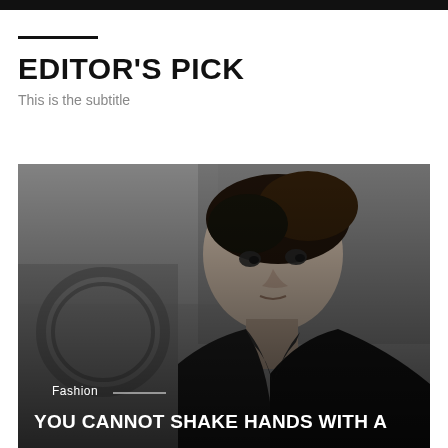EDITOR'S PICK
This is the subtitle
[Figure (photo): Black and white portrait photo of a young man in a dark jacket looking intensely at the camera, with styled hair, set against a concrete wall background. Overlaid text reads 'Fashion' with a decorative line, and 'YOU CANNOT SHAKE HANDS WITH A' at the bottom.]